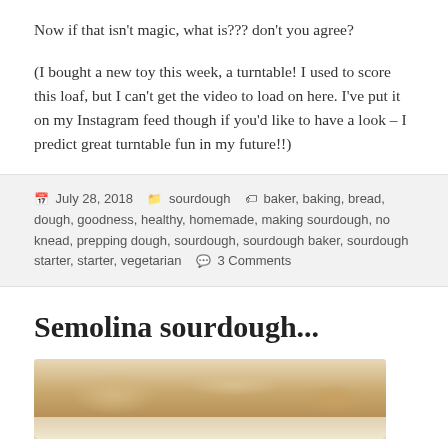Now if that isn't magic, what is??? don't you agree?
(I bought a new toy this week, a turntable! I used to score this loaf, but I can't get the video to load on here. I've put it on my Instagram feed though if you'd like to have a look – I predict great turntable fun in my future!!)
July 28, 2018  sourdough  baker, baking, bread, dough, goodness, healthy, homemade, making sourdough, no knead, prepping dough, sourdough, sourdough baker, sourdough starter, starter, vegetarian  3 Comments
Semolina sourdough...
[Figure (photo): A photo of a sourdough bread loaf on a plate, partially cropped at the bottom of the page]